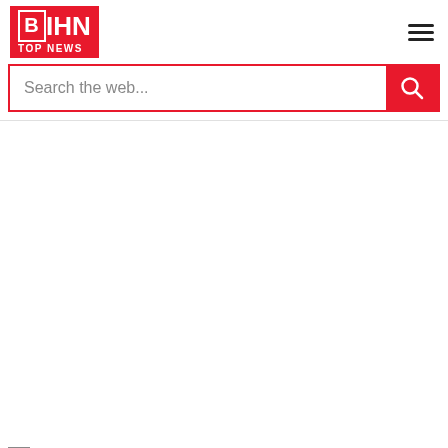DHIN TOP NEWS
Search the web...
[Figure (photo): Broken image placeholder for article titled 'Why You Need a Pot Rack (and How to Easily Install One)']
Image for nonfiction titled Why You Need a Pot Rack (and How to Easily Install One)